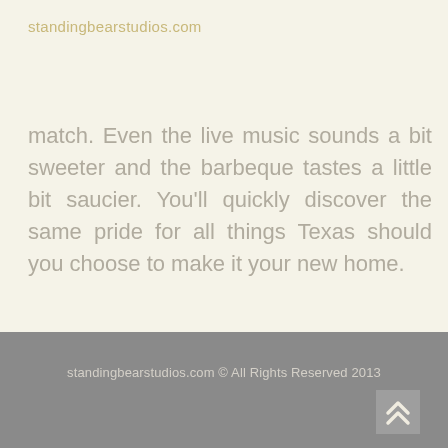standingbearstudios.com
match. Even the live music sounds a bit sweeter and the barbeque tastes a little bit saucier. You'll quickly discover the same pride for all things Texas should you choose to make it your new home.
[Figure (other): A circular navigation button with a grey ring border and a teal/green left-pointing chevron arrow in the center, on a cream background.]
standingbearstudios.com © All Rights Reserved 2013